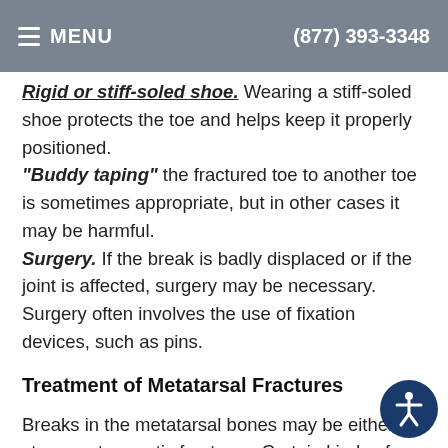MENU | (877) 393-3348
Rigid or stiff-soled shoe. Wearing a stiff-soled shoe protects the toe and helps keep it properly positioned. "Buddy taping" the fractured toe to another toe is sometimes appropriate, but in other cases it may be harmful. Surgery. If the break is badly displaced or if the joint is affected, surgery may be necessary. Surgery often involves the use of fixation devices, such as pins.
Treatment of Metatarsal Fractures
Breaks in the metatarsal bones may be either stress or traumatic fractures. Certain kinds of fractures of the metatarsal bones present unique challenges.
For example, sometimes a fracture of the first metatarsal bone (behind the big toe) can lead to arthritis. Since the big toe is used so frequently and bears more weight than other toes, arthritis in that